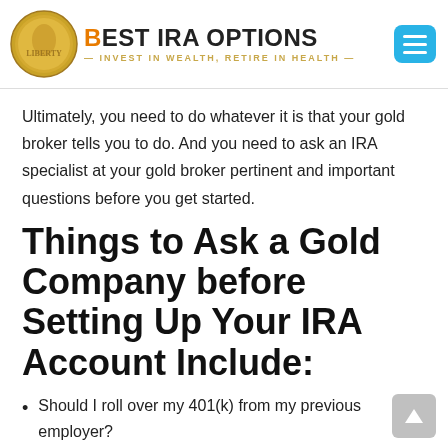[Figure (logo): Best IRA Options logo with gold coins and tagline 'Invest in Wealth, Retire in Health']
Ultimately, you need to do whatever it is that your gold broker tells you to do. And you need to ask an IRA specialist at your gold broker pertinent and important questions before you get started.
Things to Ask a Gold Company before Setting Up Your IRA Account Include:
Should I roll over my 401(k) from my previous employer?